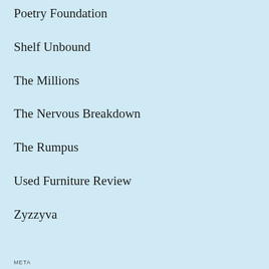Poetry Foundation
Shelf Unbound
The Millions
The Nervous Breakdown
The Rumpus
Used Furniture Review
Zyzzyva
META